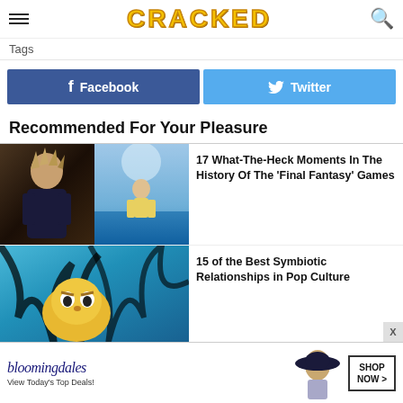CRACKED
Tags
Facebook
Twitter
Recommended For Your Pleasure
17 What-The-Heck Moments In The History Of The 'Final Fantasy' Games
15 of the Best Symbiotic Relationships in Pop Culture
[Figure (photo): Bloomingdale's advertisement banner with brand logo, model in hat, and Shop Now button]
bloomingdales
View Today's Top Deals!
SHOP NOW >